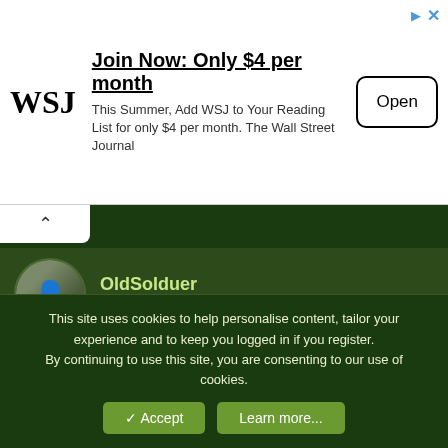[Figure (other): WSJ advertisement banner: 'Join Now: Only $4 per month - This Summer, Add WSJ to Your Reading List for only $4 per month. The Wall Street Journal' with an Open button]
OldSolduer
Army.ca Myth
16 Aug 2021
#65
Remius said:
Macleans has a platform guide. Defence is thin in all parties.
This site uses cookies to help personalise content, tailor your experience and to keep you logged in if you register.
By continuing to use this site, you are consenting to our use of cookies.